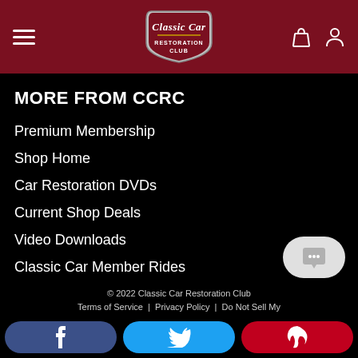Classic Car Restoration Club
MORE FROM CCRC
Premium Membership
Shop Home
Car Restoration DVDs
Current Shop Deals
Video Downloads
Classic Car Member Rides
Tech Q&A
New Classic Car Products
© 2022 Classic Car Restoration Club
Terms of Service | Privacy Policy | Do Not Sell My